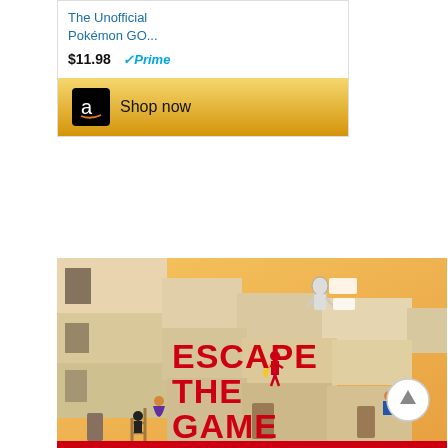[Figure (screenshot): Amazon advertisement for 'The Unofficial Pokémon GO...' priced at $11.98 with Prime badge and 'Shop now' button with Amazon logo on gold background]
[Figure (illustration): Book cover for 'ESCAPE THE GAME: How to Make Puzzle and Escape Rooms' showing illustrated characters on geometric building structures with orange/tan background]